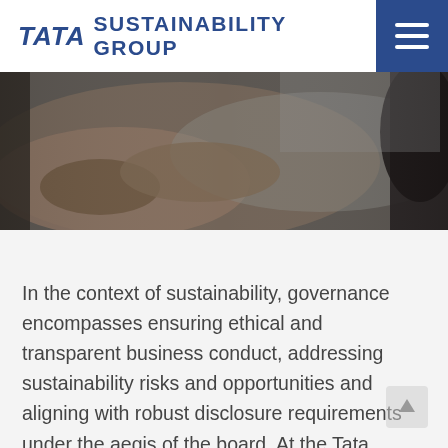TATA SUSTAINABILITY GROUP
[Figure (photo): Close-up photograph of hands on a table in a meeting or business setting, blurred/out of focus, dark tones]
In the context of sustainability, governance encompasses ensuring ethical and transparent business conduct, addressing sustainability risks and opportunities and aligning with robust disclosure requirements under the aegis of the board. At the Tata group, the Tata Code of Conduct is the bedrock of our businesses and serves as the ethical roadmap for companies and employees.